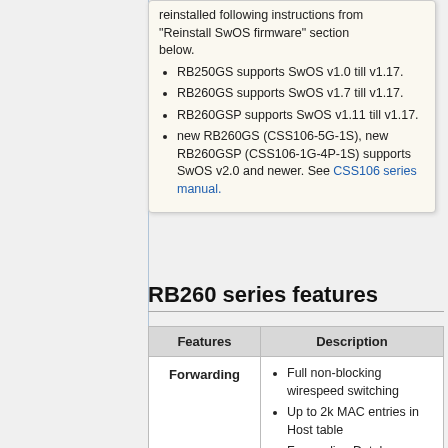reinstalled following instructions from "Reinstall SwOS firmware" section below.
RB250GS supports SwOS v1.0 till v1.17.
RB260GS supports SwOS v1.7 till v1.17.
RB260GSP supports SwOS v1.11 till v1.17.
new RB260GS (CSS106-5G-1S), new RB260GSP (CSS106-1G-4P-1S) supports SwOS v2.0 and newer. See CSS106 series manual.
RB260 series features
| Features | Description |
| --- | --- |
| Forwarding | Full non-blocking wirespeed switching
Up to 2k MAC entries in Host table
Forwarding Database works based on SVL or IVL
Port Isolation |